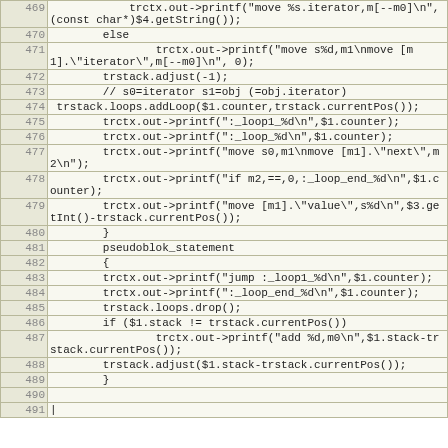| line | code |
| --- | --- |
| 469 |             trctx.out->printf("move %s.iterator,m[--m0]\n",(const char*)$4.getString()); |
| 470 |         else |
| 471 |                 trctx.out->printf("move s%d,m1\nmove [m1].\"iterator\",m[--m0]\n", 0); |
| 472 |         trstack.adjust(-1); |
| 473 |         // s0=iterator s1=obj (=obj.iterator) |
| 474 |  trstack.loops.addLoop($1.counter,trstack.currentPos()); |
| 475 |         trctx.out->printf(":_loop1_%d\n",$1.counter); |
| 476 |         trctx.out->printf(":_loop_%d\n",$1.counter); |
| 477 |         trctx.out->printf("move s0,m1\nmove [m1].\"next\",m2\n"); |
| 478 |         trctx.out->printf("if m2,==,0,:_loop_end_%d\n",$1.counter); |
| 479 |         trctx.out->printf("move [m1].\"value\",s%d\n",$3.getInt()-trstack.currentPos()); |
| 480 |         } |
| 481 |         pseudoblok_statement |
| 482 |         { |
| 483 |         trctx.out->printf("jump :_loop1_%d\n",$1.counter); |
| 484 |         trctx.out->printf(":_loop_end_%d\n",$1.counter); |
| 485 |         trstack.loops.drop(); |
| 486 |         if ($1.stack != trstack.currentPos()) |
| 487 |                 trctx.out->printf("add %d,m0\n",$1.stack-trstack.currentPos()); |
| 488 |         trstack.adjust($1.stack-trstack.currentPos()); |
| 489 |         } |
| 490 |  |
| 491 | | |